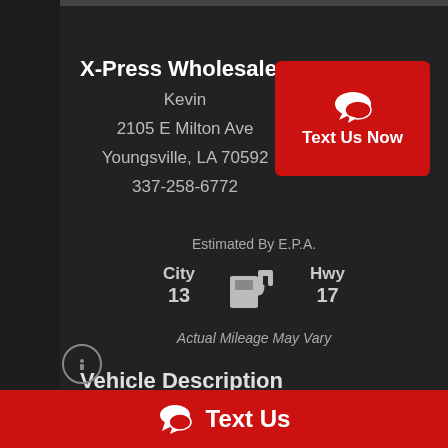X-Press Wholesale
Kevin
2105 E Milton Ave
Youngsville, LA 70592
337-258-6772
[Figure (other): Red button with speech bubble icon and text 'Text Us Now']
Estimated By E.P.A.
[Figure (infographic): EPA fuel economy display showing City 13 MPG and Hwy 17 MPG with fuel pump icon]
Actual Mileage May Vary
Vehicle Description
Platinum Crew Max, 1 owner, 4x4, Garage...
[Figure (other): Red bottom bar with speech bubble icon and 'Text Us' text]